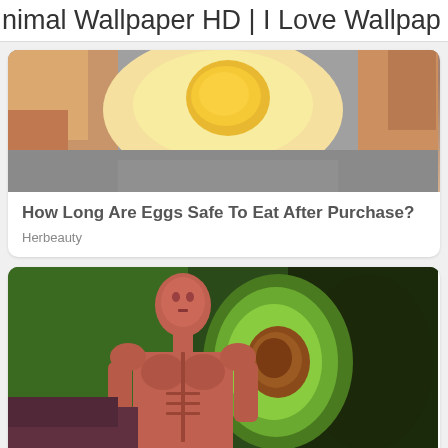nimal Wallpaper HD | I Love Wallpap
[Figure (photo): Close-up photo of a hand holding an egg, partially cropped at top]
How Long Are Eggs Safe To Eat After Purchase?
Herbeauty
[Figure (photo): Composite image of an anatomical muscle man figure in front of avocados cut open showing green flesh and brown seed]
Here Is What Scientists Say Will Happen When You Eat Avocados